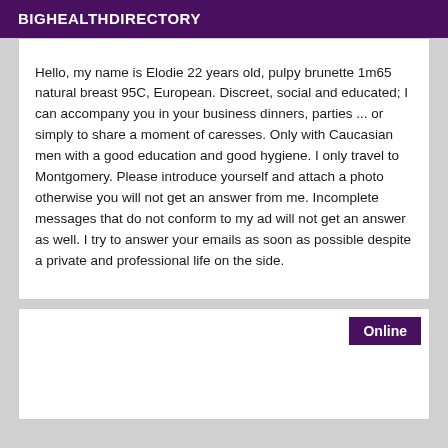BIGHEALTHDIRECTORY
Hello, my name is Elodie 22 years old, pulpy brunette 1m65 natural breast 95C, European. Discreet, social and educated; I can accompany you in your business dinners, parties ... or simply to share a moment of caresses. Only with Caucasian men with a good education and good hygiene. I only travel to Montgomery. Please introduce yourself and attach a photo otherwise you will not get an answer from me. Incomplete messages that do not conform to my ad will not get an answer as well. I try to answer your emails as soon as possible despite a private and professional life on the side.
Online